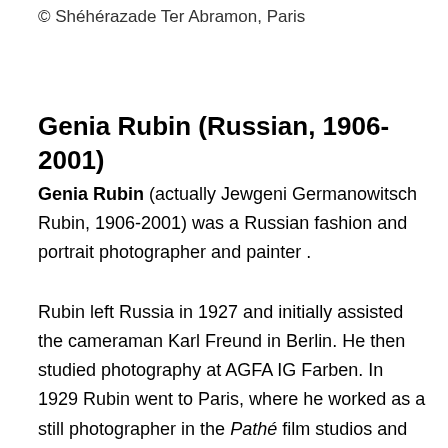© Shéhérazade Ter Abramon, Paris
Genia Rubin (Russian, 1906-2001)
Genia Rubin (actually Jewgeni Germanowitsch Rubin, 1906-2001) was a Russian fashion and portrait photographer and painter .
Rubin left Russia in 1927 and initially assisted the cameraman Karl Freund in Berlin. He then studied photography at AGFA IG Farben. In 1929 Rubin went to Paris, where he worked as a still photographer in the Pathé film studios and as a portrait photographer. In 1931 he returned to Berlin, met the photographer Rolf